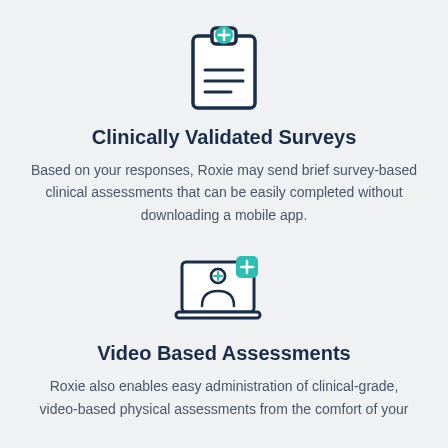[Figure (illustration): Clipboard icon with a medical plus sign at the top and three horizontal lines representing text on the clipboard body, rendered in dark navy outline with teal accent.]
Clinically Validated Surveys
Based on your responses, Roxie may send brief survey-based clinical assessments that can be easily completed without downloading a mobile app.
[Figure (illustration): Laptop icon showing a medical professional (nurse/doctor with a cross on their hat) on the screen, with a teal notification/plus badge in the upper right corner, rendered in dark navy outline with teal accent.]
Video Based Assessments
Roxie also enables easy administration of clinical-grade, video-based physical assessments from the comfort of your